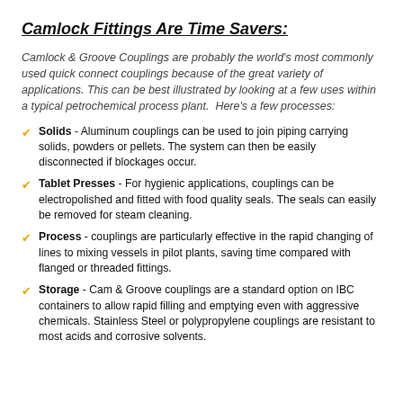Camlock Fittings Are Time Savers:
Camlock & Groove Couplings are probably the world's most commonly used quick connect couplings because of the great variety of applications. This can be best illustrated by looking at a few uses within a typical petrochemical process plant.  Here's a few processes:
Solids - Aluminum couplings can be used to join piping carrying solids, powders or pellets. The system can then be easily disconnected if blockages occur.
Tablet Presses - For hygienic applications, couplings can be electropolished and fitted with food quality seals. The seals can easily be removed for steam cleaning.
Process - couplings are particularly effective in the rapid changing of lines to mixing vessels in pilot plants, saving time compared with flanged or threaded fittings.
Storage - Cam & Groove couplings are a standard option on IBC containers to allow rapid filling and emptying even with aggressive chemicals. Stainless Steel or polypropylene couplings are resistant to most acids and corrosive solvents.